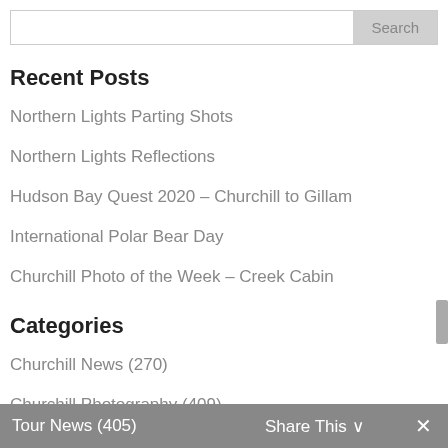Recent Posts
Northern Lights Parting Shots
Northern Lights Reflections
Hudson Bay Quest 2020 – Churchill to Gillam
International Polar Bear Day
Churchill Photo of the Week – Creek Cabin
Categories
Churchill News (270)
Churchill Photography (409)
Conservation (54)
Tour News (405)   Share This ∨   ✕